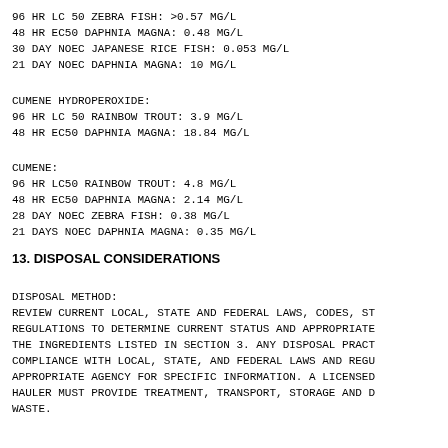96 HR LC 50 ZEBRA FISH: >0.57 MG/L
48 HR EC50 DAPHNIA MAGNA: 0.48 MG/L
30 DAY NOEC JAPANESE RICE FISH: 0.053 MG/L
21 DAY NOEC DAPHNIA MAGNA: 10 MG/L
CUMENE HYDROPEROXIDE:
96 HR LC 50 RAINBOW TROUT: 3.9 MG/L
48 HR EC50 DAPHNIA MAGNA: 18.84 MG/L
CUMENE:
96 HR LC50 RAINBOW TROUT: 4.8 MG/L
48 HR EC50 DAPHNIA MAGNA: 2.14 MG/L
28 DAY NOEC ZEBRA FISH: 0.38 MG/L
21 DAYS NOEC DAPHNIA MAGNA: 0.35 MG/L
13. DISPOSAL CONSIDERATIONS
DISPOSAL METHOD:
REVIEW CURRENT LOCAL, STATE AND FEDERAL LAWS, CODES, ST
REGULATIONS TO DETERMINE CURRENT STATUS AND APPROPRIATE
THE INGREDIENTS LISTED IN SECTION 3. ANY DISPOSAL PRACT
COMPLIANCE WITH LOCAL, STATE, AND FEDERAL LAWS AND REGU
APPROPRIATE AGENCY FOR SPECIFIC INFORMATION. A LICENSED
HAULER MUST PROVIDE TREATMENT, TRANSPORT, STORAGE AND D
WASTE.